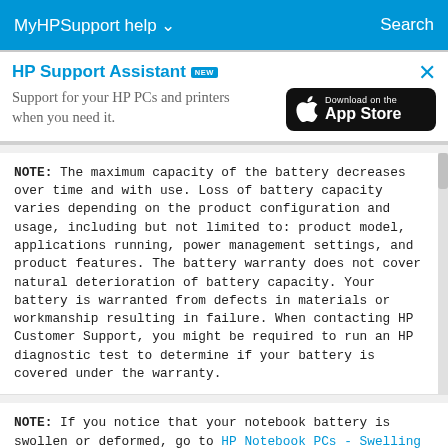MyHPSupport help ∨    Search
HP Support Assistant NEW
Support for your HP PCs and printers when you need it.
[Figure (logo): Download on the App Store button (black rounded rectangle with Apple logo)]
NOTE: The maximum capacity of the battery decreases over time and with use. Loss of battery capacity varies depending on the product configuration and usage, including but not limited to: product model, applications running, power management settings, and product features. The battery warranty does not cover natural deterioration of battery capacity. Your battery is warranted from defects in materials or workmanship resulting in failure. When contacting HP Customer Support, you might be required to run an HP diagnostic test to determine if your battery is covered under the warranty.
NOTE: If you notice that your notebook battery is swollen or deformed, go to HP Notebook PCs - Swelling or deformation of notebook battery for more information.